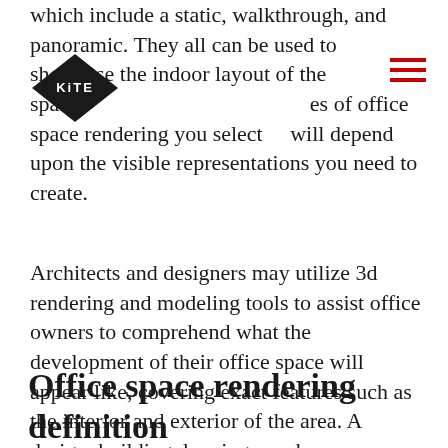which include a static, walkthrough, and panoramic. They all can be used to showcase the indoor layout of the space. The types of office space rendering you select will depend upon the visible representations you need to create.
[Figure (logo): KITE logo — black diamond shape with white text 'KiTE' inside]
[Figure (other): Hamburger menu icon — three horizontal red lines]
Architects and designers may utilize 3d rendering and modeling tools to assist office owners to comprehend what the development of their office space will appear like, covering exact features such as the interior and exterior of the area. A design, building drawings, and supplementary sketches of a counter, and seats are used to create 3D visualizations for the office. Roofing and blueprints, and also equipment, product options, décor, and a power supply, must all be included.
Office space rendering definition